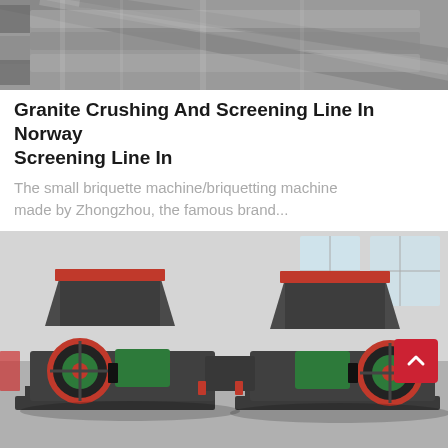[Figure (photo): Close-up photo of industrial metal components, likely corrugated steel or screen mesh panels stacked together, shown in grayscale tones.]
Granite Crushing And Screening Line In Norway Screening Line In
The small briquette machine/briquetting machine made by Zhongzhou, the famous brand...
[Figure (photo): Industrial briquetting/crushing machines in a factory setting. Two large machines with red and green components, hoppers on top, and large flywheels with red accents, mounted on steel frames on a factory floor.]
Leave Message   Chat Online